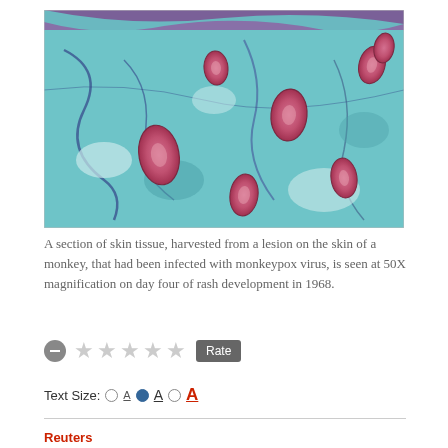[Figure (photo): Microscope image (50X magnification) of a cross-section of monkey skin tissue infected with monkeypox virus. The tissue is stained teal/blue with multiple pink oval-shaped viral inclusions visible throughout the tissue layers. Day four of rash development, 1968.]
A section of skin tissue, harvested from a lesion on the skin of a monkey, that had been infected with monkeypox virus, is seen at 50X magnification on day four of rash development in 1968.
Rate
Text Size: A A A
Reuters